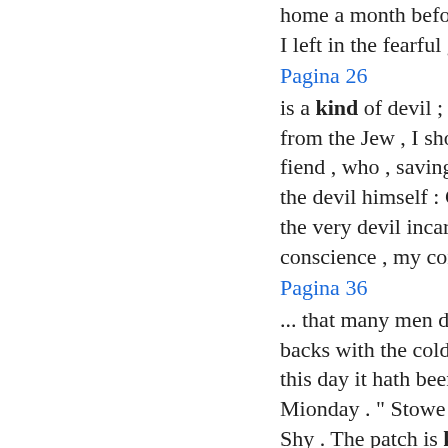home a month before the day . [ Exeunt . I left in the fearful guard ...
Pagina 26
is a kind of devil ; and , to run away from the Jew , I should be ruled by the fiend , who , saving your reverence , is the devil himself : Certainly , the Jew is the very devil incarnation ; and , in my conscience , my conscience is ...
Pagina 36
... that many men died on their horses ' backs with the cold . Wherefore , unto this day it hath been called the Blacke - Mionday . " Stowe , p . 261-6 . GREY . Shy . The patch is kind enough ; but a 36